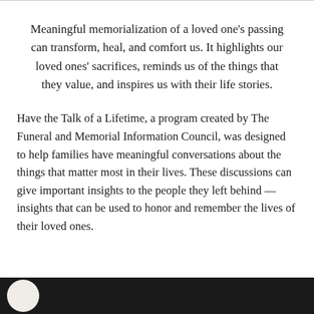Meaningful memorialization of a loved one's passing can transform, heal, and comfort us. It highlights our loved ones' sacrifices, reminds us of the things that they value, and inspires us with their life stories.
Have the Talk of a Lifetime, a program created by The Funeral and Memorial Information Council, was designed to help families have meaningful conversations about the things that matter most in their lives. These discussions can give important insights to the people they left behind — insights that can be used to honor and remember the lives of their loved ones.
[Figure (photo): Dark photograph with a partial view of a light-colored circular shape, possibly a person's head/face, at the bottom of the page.]